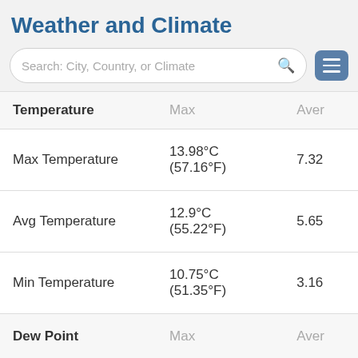Weather and Climate
[Figure (screenshot): Search bar with placeholder 'Search: City, Country, or Climate' and a hamburger menu icon]
| Temperature | Max | Aver |
| --- | --- | --- |
| Max Temperature | 13.98°C (57.16°F) | 7.32 |
| Avg Temperature | 12.9°C (55.22°F) | 5.65 |
| Min Temperature | 10.75°C (51.35°F) | 3.16 |
| Dew Point | Max | Aver |
| Dew Point | 9.68°C (49.42°F) | 2.67 |
| Precipitation | Max |  |
| Precipitation | 36.89mm | 1.45in | 4.48 |